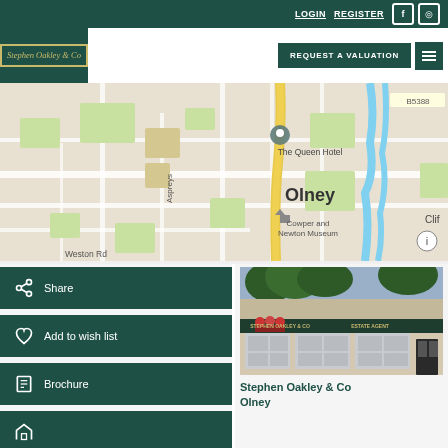LOGIN  REGISTER
[Figure (logo): Stephen Oakley & Co logo in dark green box with gold border]
REQUEST A VALUATION
[Figure (map): Street map of Olney area showing The Queen Hotel, Cowper and Newton Museum, Weston Rd, Aspreys, B5388, Cliff area]
Share
Add to wish list
Brochure
[Figure (photo): Photo of Stephen Oakley & Co office building in Olney, a stone-fronted estate agent with display windows]
Stephen Oakley & Co Olney